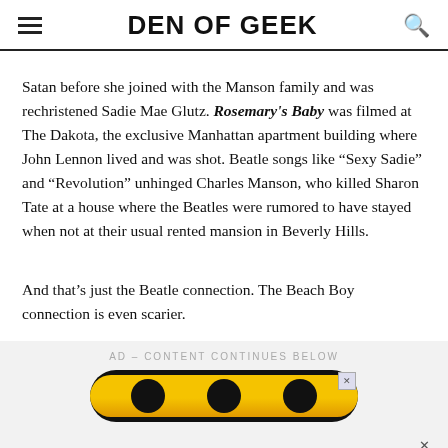DEN OF GEEK
Satan before she joined with the Manson family and was rechristened Sadie Mae Glutz. Rosemary's Baby was filmed at The Dakota, the exclusive Manhattan apartment building where John Lennon lived and was shot. Beatle songs like “Sexy Sadie” and “Revolution” unhinged Charles Manson, who killed Sharon Tate at a house where the Beatles were rumored to have stayed when not at their usual rented mansion in Beverly Hills.
And that’s just the Beatle connection. The Beach Boy connection is even scarier.
AD – CONTENT CONTINUES BELOW